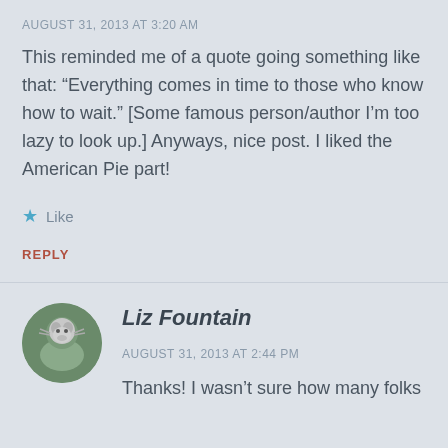AUGUST 31, 2013 AT 3:20 AM
This reminded me of a quote going something like that: “Everything comes in time to those who know how to wait.” [Some famous person/author I’m too lazy to look up.] Anyways, nice post. I liked the American Pie part!
★ Like
REPLY
Liz Fountain
AUGUST 31, 2013 AT 2:44 PM
Thanks! I wasn’t sure how many folks